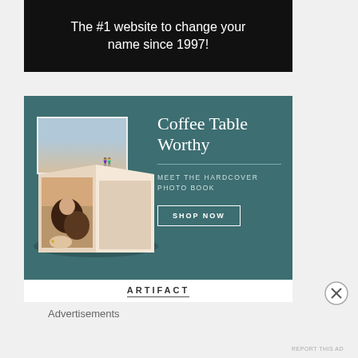[Figure (screenshot): Advertisement banner with black background and white text reading 'The #1 website to change your name since 1997!']
[Figure (screenshot): Advertisement for Artifact Hardcover Photo Book on teal background. Shows open photo book with couple image. Text: 'Coffee Table Worthy / MEET THE HARDCOVER PHOTO BOOK / SHOP NOW'. Brand name: ARTIFACT at bottom.]
Advertisements
REPORT THIS AD